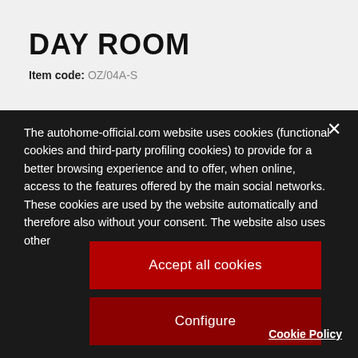DAY ROOM
Item code: OZ/04A-S
The autohome-official.com website uses cookies (functional cookies and third-party profiling cookies) to provide for a better browsing experience and to offer, when online, access to the features offered by the main social networks. These cookies are used by the website automatically and therefore also without your consent. The website also uses other
Accept all cookies
Configure
Cookie Policy